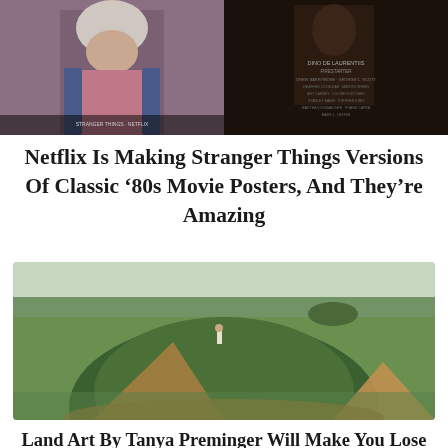[Figure (photo): Two movie poster images cropped at top: left shows a person with white/gray hair in pinkish outfit (Stranger Things style poster), right shows a dark movie poster with text credits including 'DINO DE LAURENTIIS', 'DREW BARRYMORE', 'GEORGE C. SCOTT', 'STEPHEN KING', 'MARTHA SCHUMACHER', 'FRANK CAPRA', 'STANLEY MANN']
Netflix Is Making Stranger Things Versions Of Classic ‘80s Movie Posters, And They’re Amazing
[Figure (photo): A photograph of land art: a large boulder-shaped mound of grass and earth in a flat green field, with a person standing on top. The mound casts a triangular shadow. Open countryside visible in background.]
Land Art By Tanya Preminger Will Make You Lose Your Balance